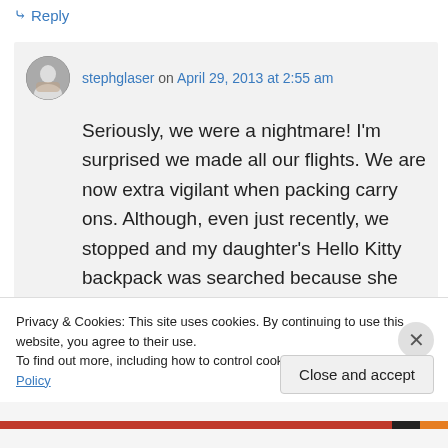↳ Reply
stephglaser on April 29, 2013 at 2:55 am
Seriously, we were a nightmare! I'm surprised we made all our flights. We are now extra vigilant when packing carry ons. Although, even just recently, we stopped and my daughter's Hello Kitty backpack was searched because she had stashed an entire 12 oz. bottle of lotion. That was
Privacy & Cookies: This site uses cookies. By continuing to use this website, you agree to their use.
To find out more, including how to control cookies, see here: Cookie Policy
Close and accept